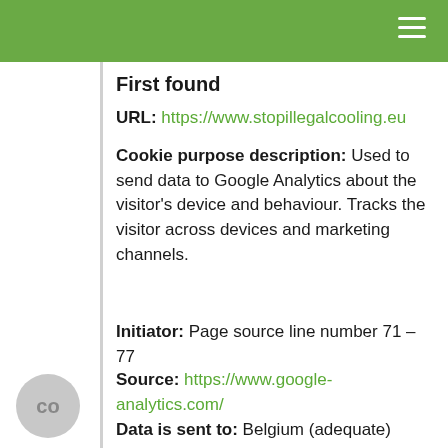≡
First found
URL: https://www.stopillegalcooling.eu
Cookie purpose description: Used to send data to Google Analytics about the visitor's device and behaviour. Tracks the visitor across devices and marketing channels.
Initiator: Page source line number 71 – 77
Source: https://www.google-analytics.com/
Data is sent to: Belgium (adequate) Adequate country under GDPR (EU )
Blocked until accepted by user: No